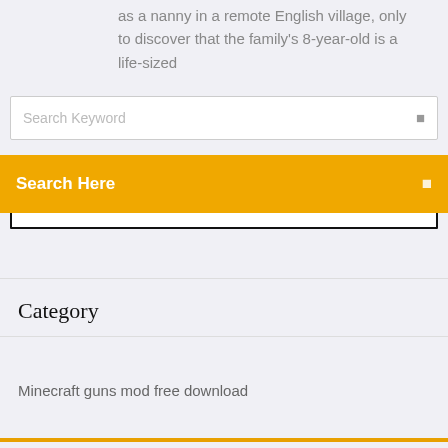as a nanny in a remote English village, only to discover that the family's 8-year-old is a life-sized
Search Keyword
Search Here
Category
Minecraft guns mod free download